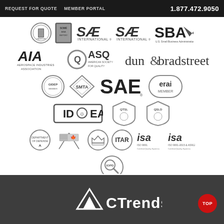REQUEST FOR QUOTE   MEMBER PORTAL   1.877.472.9050
[Figure (logo): Row of certification/membership logos: IDEA, book logo, SAE International (x2), SBA, AIA Aerospace Industries Association, ASQ American Society for Quality, Dun & Bradstreet, GIDEP, SMTA, SAE, ERAI Member, IDEA, QTSL, QSLD, DOD symbol, US/Canada flags, crown/coat of arms, ITAR, ISA ISO 9001, ISA ISO 9001-2015, IOPD/member badge]
[Figure (logo): CTrends logo in white at bottom footer, with TOP red circle button]